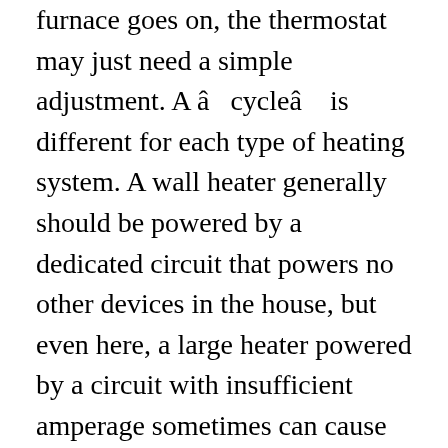furnace goes on, the thermostat may just need a simple adjustment. A â cycle â is different for each type of heating system. A wall heater generally should be powered by a dedicated circuit that powers no other devices in the house, but even here, a large heater powered by a circuit with insufficient amperage sometimes can cause an overload. However, never assume you have turned off the correct breaker until you have tested the wires inside the heater. AFCI and GFCI breakers, in particular, can be so sensitive that they frequently cause nuisance-tripping.Â A faulty circuit breaker should be replaced by an electrician. When purchasing baseboard heaters look at the features to see if they have